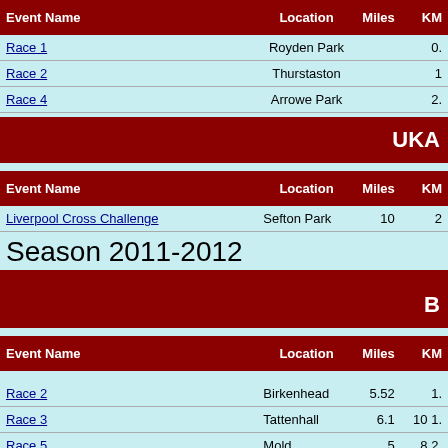| Event Name | Location | Miles | KM |
| --- | --- | --- | --- |
| Race 1 | Royden Park |  | 0. |
| Race 2 | Thurstaston |  | 1 |
| Race 4 | Arrowe Park |  | 2 |
UKA
| Event Name | Location | Miles | KM |
| --- | --- | --- | --- |
| Liverpool Cross Challenge | Sefton Park | 10 | 2 |
Season 2011-2012
B
| Event Name | Location | Miles | KM |
| --- | --- | --- | --- |
| Race 2 | Birkenhead | 5.52 | 1. |
| Race 3 | Tattenhall | 6.1 | 10 1. |
| Race 5 | Mold | 5 | 8 2. |